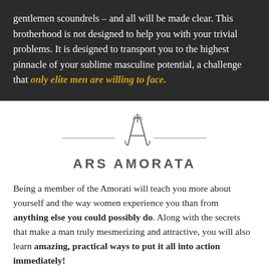gentlemen scoundrels – and all will be made clear. This brotherhood is not designed to help you with your trivial problems. It is designed to transport you to the highest pinnacle of your sublime masculine potential, a challenge that only elite men are willing to face.
[Figure (logo): Ars Amorata logo: a stylized letter A with a cross/dagger motif, flanked by horizontal lines, above the text ARS AMORATA in bold spaced capitals]
Being a member of the Amorati will teach you more about yourself and the way women experience you than from anything else you could possibly do. Along with the secrets that make a man truly mesmerizing and attractive, you will also learn amazing, practical ways to put it all into action immediately!